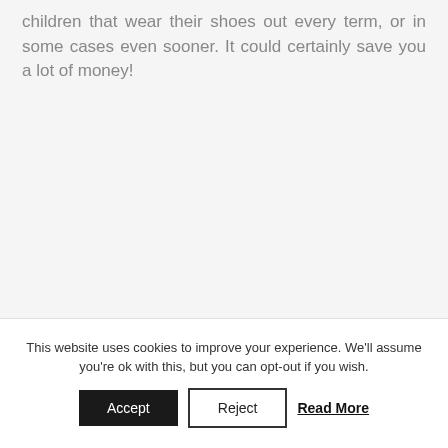children that wear their shoes out every term, or in some cases even sooner. It could certainly save you a lot of money!
This website uses cookies to improve your experience. We'll assume you're ok with this, but you can opt-out if you wish.
Accept | Reject | Read More